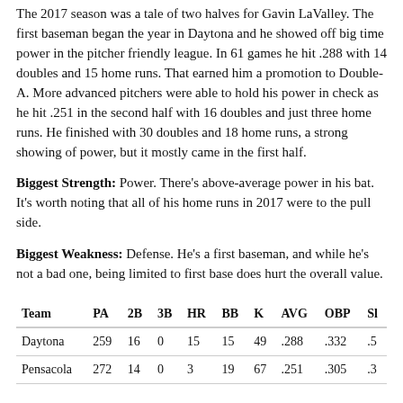The 2017 season was a tale of two halves for Gavin LaValley. The first baseman began the year in Daytona and he showed off big time power in the pitcher friendly league. In 61 games he hit .288 with 14 doubles and 15 home runs. That earned him a promotion to Double-A. More advanced pitchers were able to hold his power in check as he hit .251 in the second half with 16 doubles and just three home runs. He finished with 30 doubles and 18 home runs, a strong showing of power, but it mostly came in the first half.
Biggest Strength: Power. There's above-average power in his bat. It's worth noting that all of his home runs in 2017 were to the pull side.
Biggest Weakness: Defense. He's a first baseman, and while he's not a bad one, being limited to first base does hurt the overall value.
| Team | PA | 2B | 3B | HR | BB | K | AVG | OBP | SL |
| --- | --- | --- | --- | --- | --- | --- | --- | --- | --- |
| Daytona | 259 | 16 | 0 | 15 | 15 | 49 | .288 | .332 | .5 |
| Pensacola | 272 | 14 | 0 | 3 | 19 | 67 | .251 | .305 | .3 |